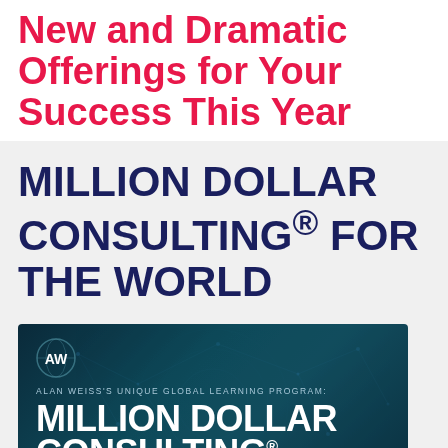New and Dramatic Offerings for Your Success This Year
MILLION DOLLAR CONSULTING® FOR THE WORLD
[Figure (illustration): Promotional banner for Alan Weiss's Million Dollar Consulting global learning program. Dark teal/navy background with network tech lines overlay. AW logo top left, subtitle 'ALAN WEISS'S UNIQUE GLOBAL LEARNING PROGRAM:', large white bold text 'MILLION DOLLAR CONSULTING®']